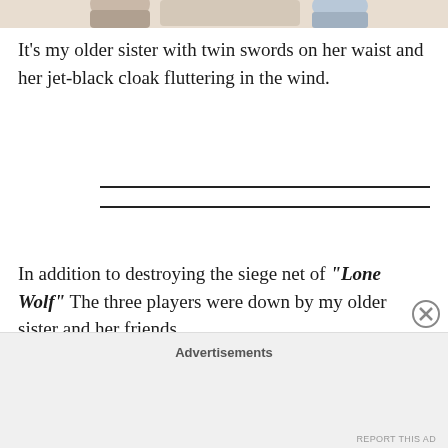[Figure (illustration): Partial view of an illustrated character with twin swords and a jet-black cloak, cropped at the top of the page.]
It's my older sister with twin swords on her waist and her jet-black cloak fluttering in the wind.
In addition to destroying the siege net of "Lone Wolf" The three players were down by my older sister and her friends.
Advertisements